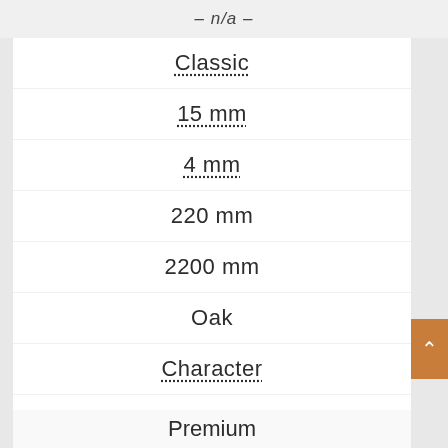– n/a –
Classic
15 mm
4 mm
220 mm
2200 mm
Oak
Character
– n/a –
Premium